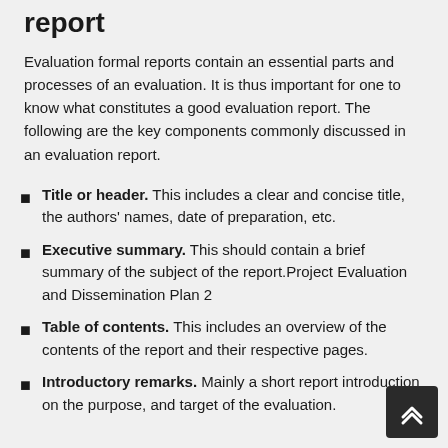report
Evaluation formal reports contain an essential parts and processes of an evaluation. It is thus important for one to know what constitutes a good evaluation report. The following are the key components commonly discussed in an evaluation report.
Title or header. This includes a clear and concise title, the authors' names, date of preparation, etc.
Executive summary. This should contain a brief summary of the subject of the report.Project Evaluation and Dissemination Plan 2
Table of contents. This includes an overview of the contents of the report and their respective pages.
Introductory remarks. Mainly a short report introduction on the purpose, and target of the evaluation.